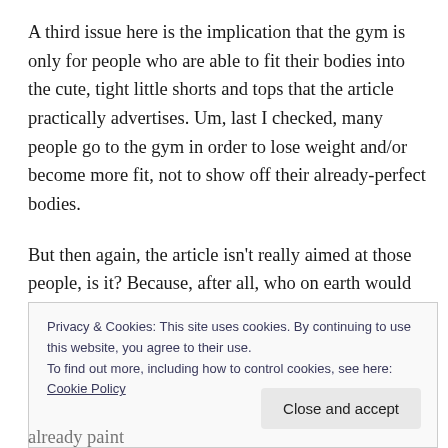A third issue here is the implication that the gym is only for people who are able to fit their bodies into the cute, tight little shorts and tops that the article practically advertises. Um, last I checked, many people go to the gym in order to lose weight and/or become more fit, not to show off their already-perfect bodies.
But then again, the article isn't really aimed at those people, is it? Because, after all, who on earth would want to look at them, anyway?
Privacy & Cookies: This site uses cookies. By continuing to use this website, you agree to their use.
To find out more, including how to control cookies, see here: Cookie Policy
already paint